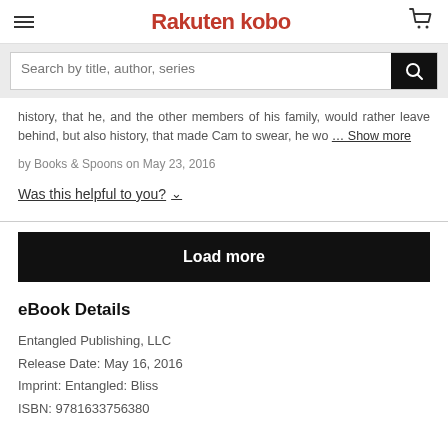Rakuten kobo
Search by title, author, series
history, that he, and the other members of his family, would rather leave behind, but also history, that made Cam to swear, he wo … Show more
by Books & Spoons on May 23, 2016
Was this helpful to you? ∨
Load more
eBook Details
Entangled Publishing, LLC
Release Date: May 16, 2016
Imprint: Entangled: Bliss
ISBN: 9781633756380